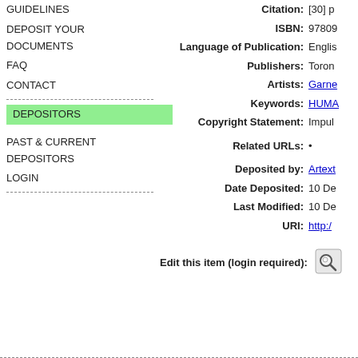GUIDELINES
DEPOSIT YOUR DOCUMENTS
FAQ
CONTACT
DEPOSITORS
PAST & CURRENT DEPOSITORS
LOGIN
Citation: [30] p
ISBN: 97809
Language of Publication: Englis
Publishers: Toron
Artists: Garne
Keywords: HUMA
Copyright Statement: Impul
Related URLs: •
Deposited by: Artext
Date Deposited: 10 De
Last Modified: 10 De
URI: http:/
Edit this item (login required):